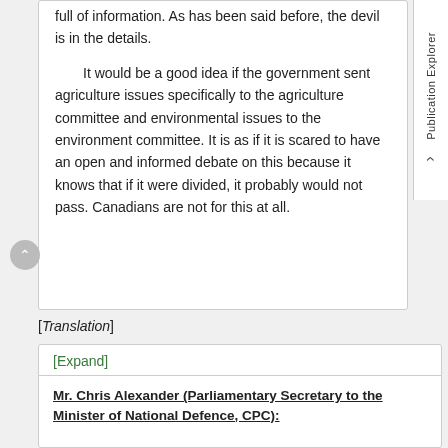full of information. As has been said before, the devil is in the details.

It would be a good idea if the government sent agriculture issues specifically to the agriculture committee and environmental issues to the environment committee. It is as if it is scared to have an open and informed debate on this because it knows that if it were divided, it probably would not pass. Canadians are not for this at all.
[Translation]
[Expand]
Mr. Chris Alexander (Parliamentary Secretary to the Minister of National Defence, CPC):